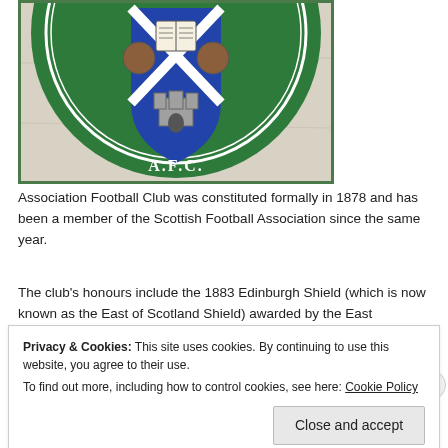[Figure (logo): Partial view of a football club badge/crest. Green circular badge with 'A.F.C.' text visible at the bottom, showing a shield with a book, saltire (X cross in blue and white), and a castle/tower motif. The badge is on a worn, aged paper background.]
Association Football Club was constituted formally in 1878 and has been a member of the Scottish Football Association since the same year.
The club's honours include the 1883 Edinburgh Shield (which is now known as the East of Scotland Shield) awarded by the East
Privacy & Cookies: This site uses cookies. By continuing to use this website, you agree to their use.
To find out more, including how to control cookies, see here: Cookie Policy
Close and accept
HIBBOTTON.XC